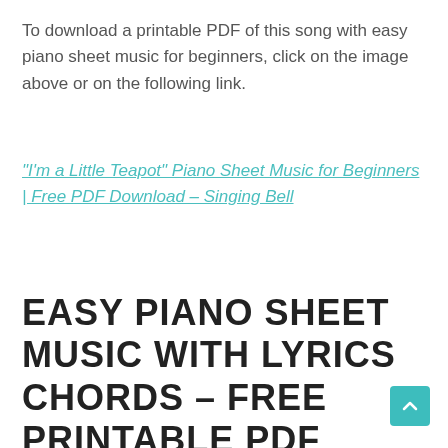To download a printable PDF of this song with easy piano sheet music for beginners, click on the image above or on the following link.
"I'm a Little Teapot" Piano Sheet Music for Beginners | Free PDF Download – Singing Bell
EASY PIANO SHEET MUSIC WITH LYRICS CHORDS – FREE PRINTABLE PDF